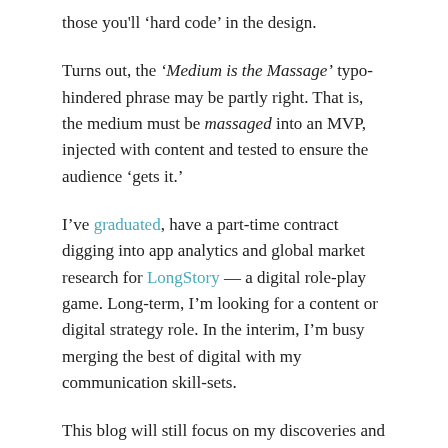those you'll 'hard code' in the design.
Turns out, the 'Medium is the Massage' typo-hindered phrase may be partly right. That is, the medium must be massaged into an MVP, injected with content and tested to ensure the audience 'gets it.'
I've graduated, have a part-time contract digging into app analytics and global market research for LongStory — a digital role-play game. Long-term, I'm looking for a content or digital strategy role. In the interim, I'm busy merging the best of digital with my communication skill-sets.
This blog will still focus on my discoveries and how to do the right thing well but with more of a digital twist or 'interactive for good' feel.